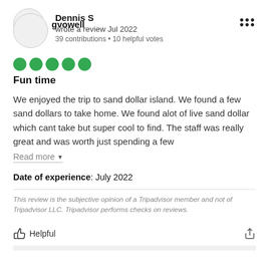Dennis S
wrote a review Jul 2022
39 contributions • 10 helpful votes
[Figure (other): Five green circle rating dots (5-star rating)]
Fun time
We enjoyed the trip to sand dollar island. We found a few sand dollars to take home. We found alot of live sand dollar which cant take but super cool to find. The staff was really great and was worth just spending a few
Read more
Date of experience: July 2022
This review is the subjective opinion of a Tripadvisor member and not of Tripadvisor LLC. Tripadvisor performs checks on reviews.
Helpful
gvowell